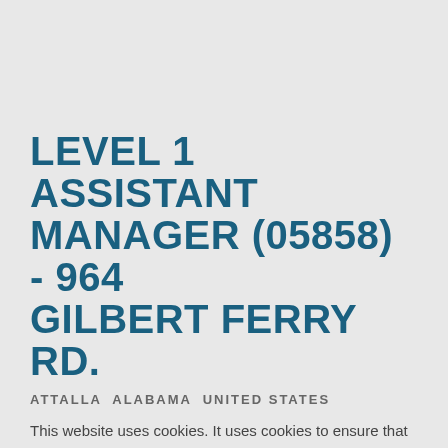LEVEL 1 ASSISTANT MANAGER (05858) - 964 GILBERT FERRY RD.
ATTALLA  ALABAMA  UNITED STATES
This website uses cookies. It uses cookies to ensure that it gives you the best experience on our website. If you continue without agreeing to the cookie conditions, we'll assume that you are happy to receive all cookies on this website. Read more
CONTINUE